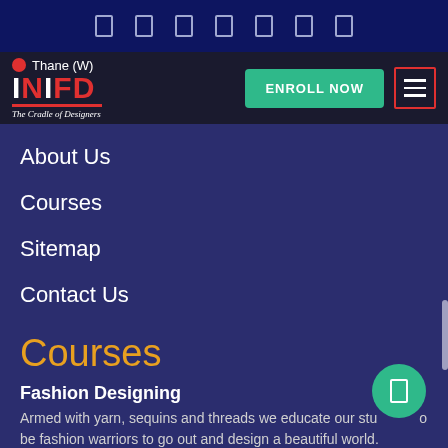Top navigation bar with icons
[Figure (logo): INIFD Thane (W) logo with red dot, INIFD text in red and white, The Cradle of Designers tagline]
ENROLL NOW
About Us
Courses
Sitemap
Contact Us
Courses
Fashion Designing
Armed with yarn, sequins and threads we educate our students to be fashion warriors to go out and design a beautiful world.